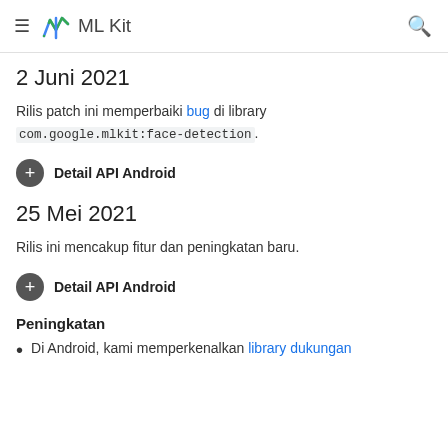ML Kit
2 Juni 2021
Rilis patch ini memperbaiki bug di library com.google.mlkit:face-detection.
Detail API Android
25 Mei 2021
Rilis ini mencakup fitur dan peningkatan baru.
Detail API Android
Peningkatan
Di Android, kami memperkenalkan library dukungan